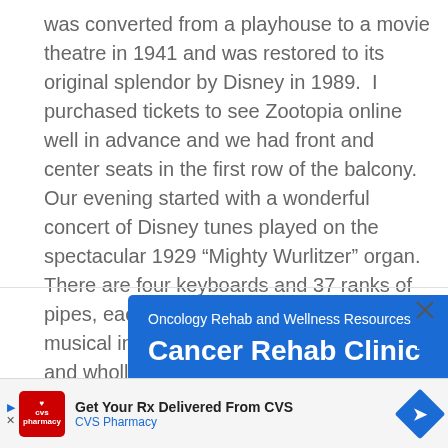was converted from a playhouse to a movie theatre in 1941 and was restored to its original splendor by Disney in 1989. I purchased tickets to see Zootopia online well in advance and we had front and center seats in the first row of the balcony. Our evening started with a wonderful concert of Disney tunes played on the spectacular 1929 “Mighty Wurlitzer” organ. There are four keyboards and 37 ranks of pipes, each representing a different musical instrument!! It was truly amazing and wholly entertaining.
[Figure (screenshot): Blue advertisement banner for Oncology Rehab and Wellness Resources - Cancer Rehab Clinic, with close and play icons in the top right corner]
[Figure (screenshot): CVS Pharmacy advertisement: Get Your Rx Delivered From CVS, with CVS pharmacy logo on the left and a blue diamond arrow on the right]